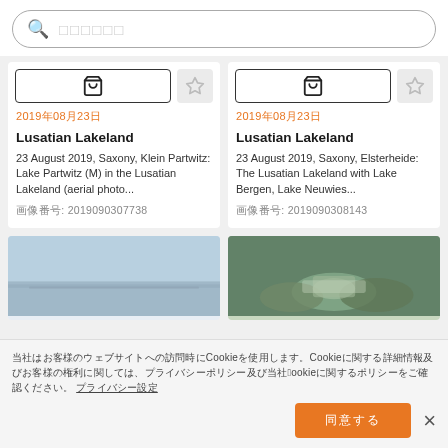[Figure (screenshot): Search bar with magnifying glass icon and placeholder text in Japanese/Chinese characters]
2019年08月23日
Lusatian Lakeland
23 August 2019, Saxony, Klein Partwitz: Lake Partwitz (M) in the Lusatian Lakeland (aerial photo...
画像番号: 2019090307738
2019年08月23日
Lusatian Lakeland
23 August 2019, Saxony, Elsterheide: The Lusatian Lakeland with Lake Bergen, Lake Neuwies...
画像番号: 2019090308143
[Figure (photo): Aerial photo of landscape, light blue sky tones - Lusatian Lakeland]
[Figure (photo): Aerial photo of forested area with lake - Lusatian Lakeland]
当社はお客様のウェブサイトへの訪問時にCookieを使用します。Cookieに関する詳細情報及びお客様の権利に関しては、プライバシーポリシー及び当社のCookieに関するポリシーをご確認ください。 プライバシー設定